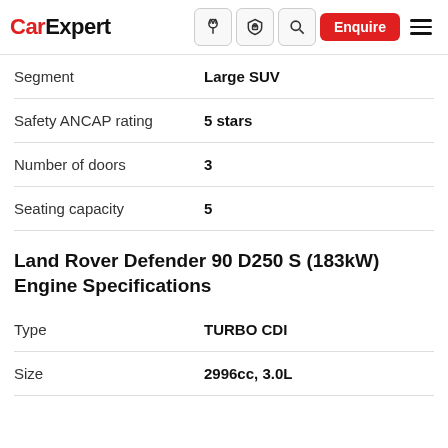CarExpert
|  |  |
| --- | --- |
| Segment | Large SUV |
| Safety ANCAP rating | 5 stars |
| Number of doors | 3 |
| Seating capacity | 5 |
Land Rover Defender 90 D250 S (183kW) Engine Specifications
|  |  |
| --- | --- |
| Type | TURBO CDI |
| Size | 2996cc, 3.0L |